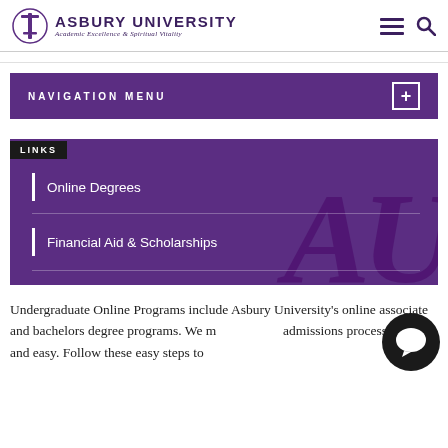ASBURY UNIVERSITY — Academic Excellence & Spiritual Vitality
NAVIGATION MENU
LINKS
Online Degrees
Financial Aid & Scholarships
Undergraduate Online Programs include Asbury University's online associate and bachelors degree programs. We m... admissions process simple and easy. Follow these easy steps to